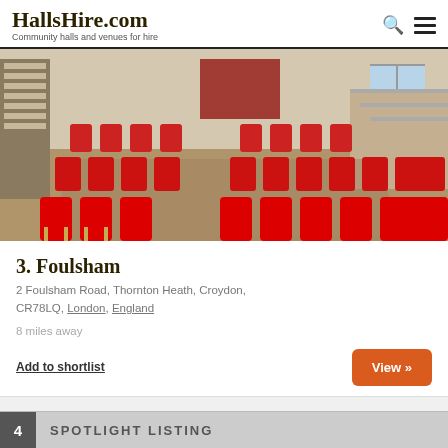HallsHire.com — Community halls and venues for hire
[Figure (photo): Interior of a community hall with rows of red upholstered chairs arranged in theatre style, wooden bookshelf on left wall, red curtains in background, staircase on right]
3. Foulsham
2 Foulsham Road, Thornton Heath, Croydon, CR78LQ, London, England
8 miles away
Add to shortlist
View »
4  SPOTLIGHT LISTING